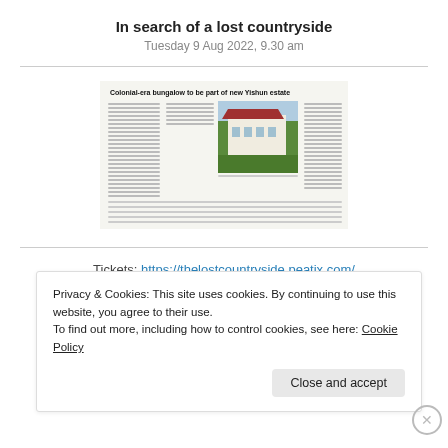In search of a lost countryside
Tuesday 9 Aug 2022, 9.30 am
[Figure (screenshot): Newspaper clipping showing article titled 'Colonial-era bungalow to be part of new Yishun estate' with a photo of a white colonial bungalow with red roof surrounded by green lawn, and multiple columns of text]
Tickets: https://thelostcountryside.peatix.com/
Privacy & Cookies: This site uses cookies. By continuing to use this website, you agree to their use.
To find out more, including how to control cookies, see here: Cookie Policy
Close and accept